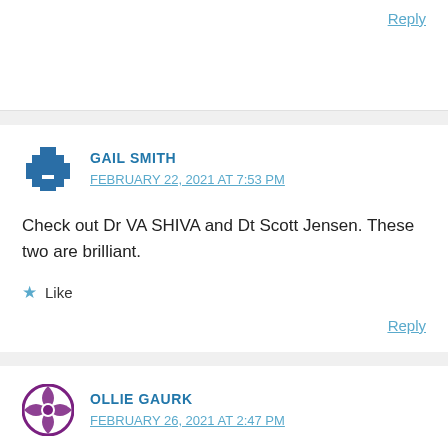Reply
GAIL SMITH
FEBRUARY 22, 2021 AT 7:53 PM
Check out Dr VA SHIVA and Dt Scott Jensen. These two are brilliant.
Like
Reply
OLLIE GAURK
FEBRUARY 26, 2021 AT 2:47 PM